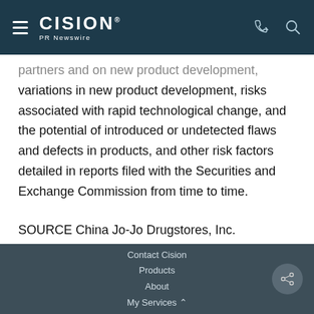CISION PR Newswire
partners and on new product development, variations in new product development, risks associated with rapid technological change, and the potential of introduced or undetected flaws and defects in products, and other risk factors detailed in reports filed with the Securities and Exchange Commission from time to time.
SOURCE China Jo-Jo Drugstores, Inc.
Contact Cision
Products
About
My Services